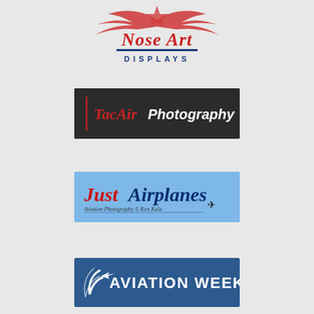[Figure (logo): Nose Art Displays logo — red stylized wings and star graphic above cursive 'Nose Art' in red and blue, with 'DISPLAYS' in spaced blue capitals below]
[Figure (logo): TacAir Photography logo — dark/black rectangular banner with 'TacAir' in red italic serif and 'Photography' in white italic sans-serif]
[Figure (logo): JustAirplanes logo — light blue rectangular banner with 'Just' in red italic and 'Airplanes' in dark blue italic, with 'Aviation Photography © Ken Kula' subtitle and small airplane silhouette]
[Figure (logo): Aviation Week logo — dark blue rectangular banner with white swoosh/wing graphic and bold white 'AVIATION WEEK' text]